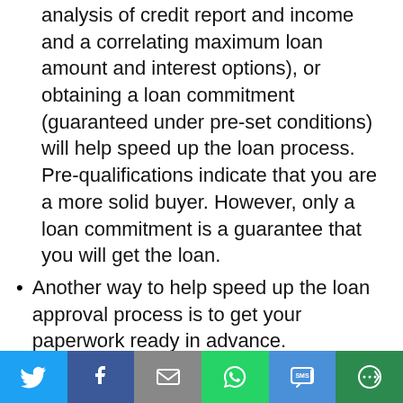analysis of credit report and income and a correlating maximum loan amount and interest options), or obtaining a loan commitment (guaranteed under pre-set conditions) will help speed up the loan process. Pre-qualifications indicate that you are a more solid buyer. However, only a loan commitment is a guarantee that you will get the loan.
Another way to help speed up the loan approval process is to get your paperwork ready in advance.
Check your credit score and clean up any old items. Have explanations for any remaining questions on your credit report.
[Figure (other): Social sharing bar with icons for Twitter, Facebook, Email, WhatsApp, SMS, and More]